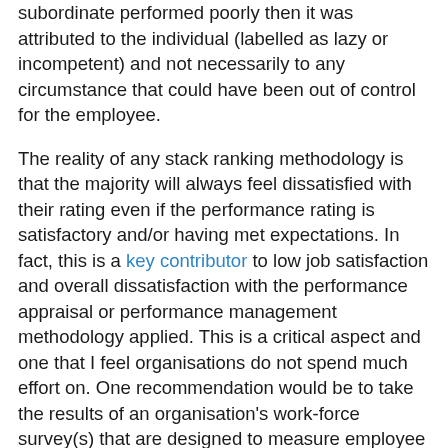subordinate performed poorly then it was attributed to the individual (labelled as lazy or incompetent) and not necessarily to any circumstance that could have been out of control for the employee.
The reality of any stack ranking methodology is that the majority will always feel dissatisfied with their rating even if the performance rating is satisfactory and/or having met expectations. In fact, this is a key contributor to low job satisfaction and overall dissatisfaction with the performance appraisal or performance management methodology applied. This is a critical aspect and one that I feel organisations do not spend much effort on. One recommendation would be to take the results of an organisation's work-force survey(s) that are designed to measure employee engagement and then create sub-clusters around high performers and average/low performers. Can employee engagement be different for these two pools of individuals? Can the overall employee